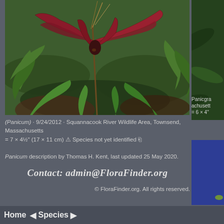[Figure (photo): Close-up photograph of Panicum grass plant with reddish-maroon seed heads and green leaves at Squannacook River Wildlife Area, Townsend, Massachusetts, 9/24/2012]
[Figure (photo): Partially visible photo on right side showing Panicgrass from Massachusetts, partially cropped]
[Figure (photo): Partially visible blue-background photo in lower right corner]
(Panicum) · 9/24/2012 · Squannacook River Wildlife Area, Townsend, Massachusetts = 7 × 4½" (17 × 11 cm) ⚠ Species not yet identified
Panicum description by Thomas H. Kent, last updated 25 May 2020.
Contact: admin@FloraFinder.org
© FloraFinder.org. All rights reserved.
Home ◄ Species ►